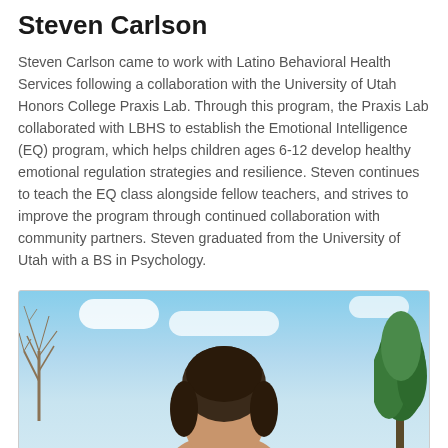Steven Carlson
Steven Carlson came to work with Latino Behavioral Health Services following a collaboration with the University of Utah Honors College Praxis Lab. Through this program, the Praxis Lab collaborated with LBHS to establish the Emotional Intelligence (EQ) program, which helps children ages 6-12 develop healthy emotional regulation strategies and resilience. Steven continues to teach the EQ class alongside fellow teachers, and strives to improve the program through continued collaboration with community partners. Steven graduated from the University of Utah with a BS in Psychology.
[Figure (photo): Photo of Steven Carlson outdoors, with blue sky, clouds, and trees visible in the background. The top of a person's head with dark hair is visible at the bottom center of the frame.]